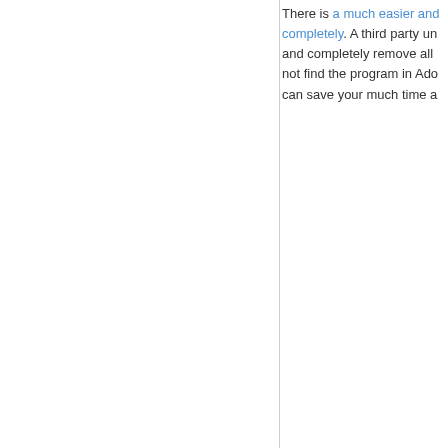There is a much easier and completely. A third party uninstaller and completely remove all not find the program in Adobe can save your much time a
[Figure (other): Download button with arrow icon and text 'Download Service 1' on a light blue rounded rectangle background]
Copyright©20... Home | Unins...